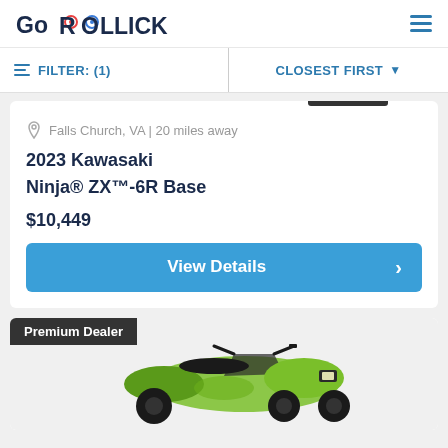GoROLLICK
FILTER: (1)  CLOSEST FIRST
Falls Church, VA | 20 miles away
2023 Kawasaki Ninja® ZX™-6R Base
$10,449
View Details
Premium Dealer
[Figure (photo): Green Kawasaki three-wheel motorcycle (Can-Am style) viewed from front-right angle]